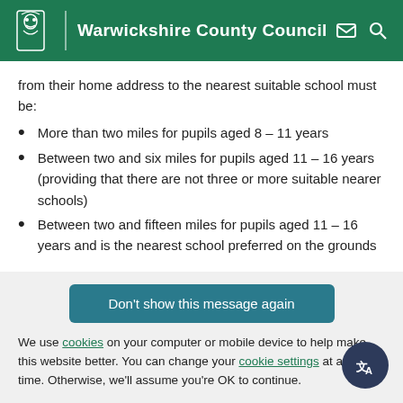Warwickshire County Council
from their home address to the nearest suitable school must be:
More than two miles for pupils aged 8 – 11 years
Between two and six miles for pupils aged 11 – 16 years (providing that there are not three or more suitable nearer schools)
Between two and fifteen miles for pupils aged 11 – 16 years and is the nearest school preferred on the grounds
Don't show this message again
We use cookies on your computer or mobile device to help make this website better. You can change your cookie settings at any time. Otherwise, we'll assume you're OK to continue.